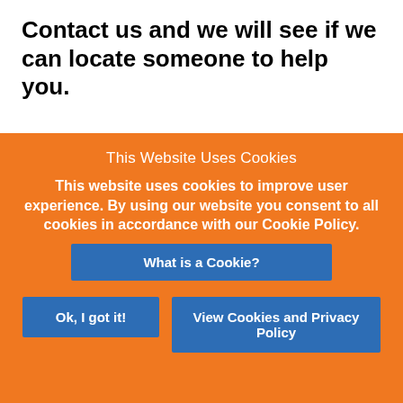Contact us and we will see if we can locate someone to help you.
This Website Uses Cookies
This website uses cookies to improve user experience. By using our website you consent to all cookies in accordance with our Cookie Policy.
What is a Cookie?
Ok, I got it!
View Cookies and Privacy Policy